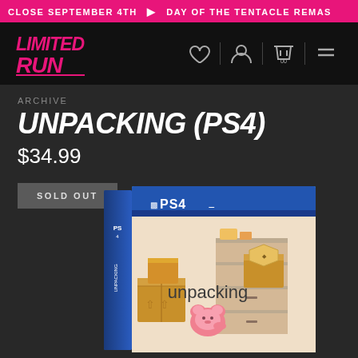CLOSE SEPTEMBER 4TH  ★  DAY OF THE TENTACLE REMAS
[Figure (logo): Limited Run Games logo in pink/magenta on black header bar]
ARCHIVE
UNPACKING (PS4)
$34.99
SOLD OUT
[Figure (photo): Unpacking PS4 physical game case with blue PS4 branding at top, showing cartoon game art with boxes, pink bear character, and 'unpacking' game title text on a pastel background with cardboard boxes]